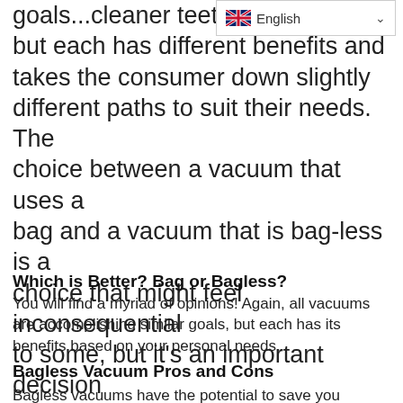goals...cleaner teeth, but each has different benefits and takes the consumer down slightly different paths to suit their needs. The choice between a vacuum that uses a bag and a vacuum that is bag-less is a choice that might feel inconsequential to some, but it's an important decision each homeowner must make! A good vacuum is an investment and it's a choice that should be made with serious consideration.
Which is Better? Bag or Bagless?
You will find a myriad of opinions! Again, all vacuums are accomplishing similar goals, but each has its benefits based on your personal needs.
Bagless Vacuum Pros and Cons
Bagless vacuums have the potential to save you